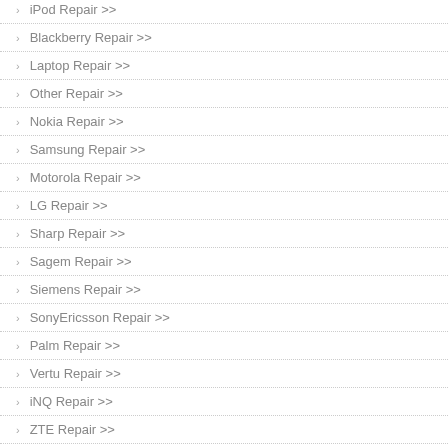iPod Repair >>
Blackberry Repair >>
Laptop Repair >>
Other Repair >>
Nokia Repair >>
Samsung Repair >>
Motorola Repair >>
LG Repair >>
Sharp Repair >>
Sagem Repair >>
Siemens Repair >>
SonyEricsson Repair >>
Palm Repair >>
Vertu Repair >>
iNQ Repair >>
ZTE Repair >>